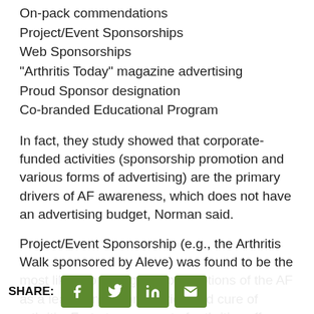On-pack commendations
Project/Event Sponsorships
Web Sponsorships
“Arthritis Today” magazine advertising
Proud Sponsor designation
Co-branded Educational Program
In fact, they study showed that corporate-funded activities (sponsorship promotion and various forms of advertising) are the primary drivers of AF awareness, which does not have an advertising budget, Norman said.
Project/Event Sponsorship (e.g., the Arthritis Walk sponsored by Aleve) was found to be the most likely to strengthen perceptions of the AF as a leader in the prevention and cure of arthritis. Forty-two percent of arthritis sufferers reported that project/event